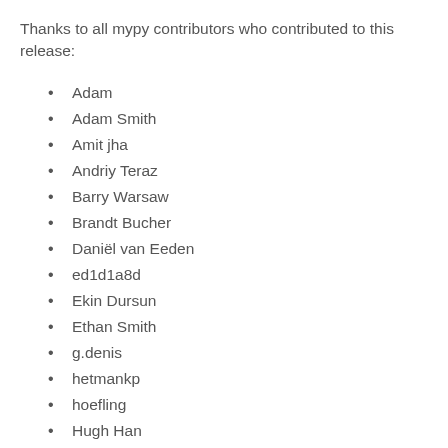Thanks to all mypy contributors who contributed to this release:
Adam
Adam Smith
Amit jha
Andriy Teraz
Barry Warsaw
Brandt Bucher
Daniël van Eeden
ed1d1a8d
Ekin Dursun
Ethan Smith
g.denis
hetmankp
hoefling
Hugh Han
Jakub Molinski